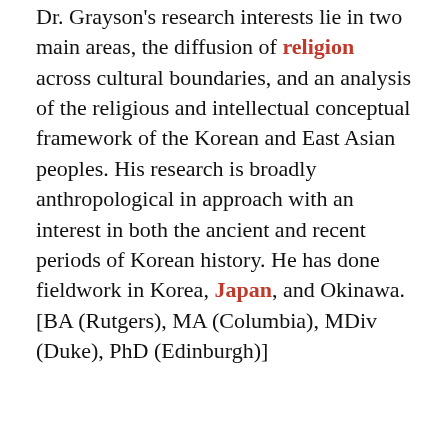Dr. Grayson's research interests lie in two main areas, the diffusion of religion across cultural boundaries, and an analysis of the religious and intellectual conceptual framework of the Korean and East Asian peoples. His research is broadly anthropological in approach with an interest in both the ancient and recent periods of Korean history. He has done fieldwork in Korea, Japan, and Okinawa. [BA (Rutgers), MA (Columbia), MDiv (Duke), PhD (Edinburgh)]
ADVERTISEMENT
REMOVE ADS